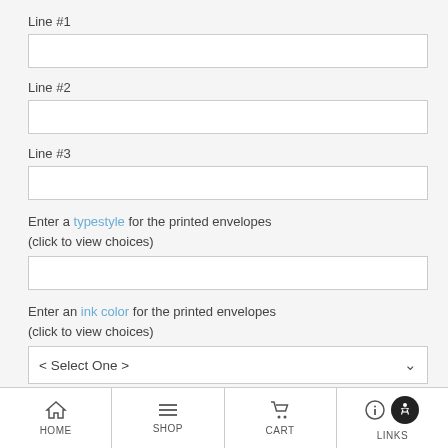Line #1
Line #2
Line #3
Enter a typestyle for the printed envelopes (click to view choices)
Enter an ink color for the printed envelopes (click to view choices)
HOME  SHOP  CART  LINKS